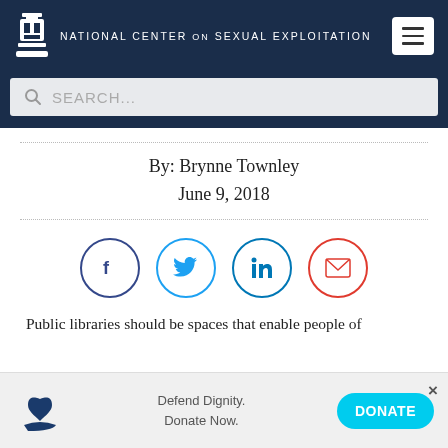NATIONAL CENTER ON SEXUAL EXPLOITATION
SEARCH...
By: Brynne Townley
June 9, 2018
[Figure (illustration): Social share buttons: Facebook, Twitter, LinkedIn, Email]
Public libraries should be spaces that enable people of
Defend Dignity. Donate Now.